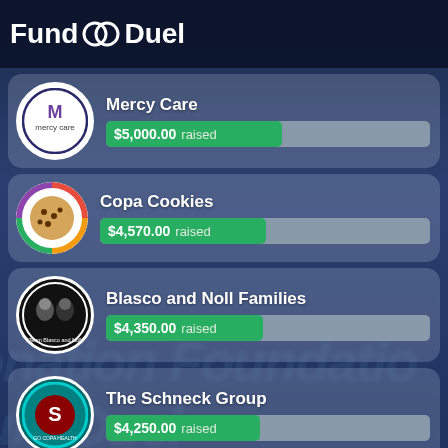[Figure (logo): Fund Duel logo with interlocking rings icon]
[Figure (infographic): Fundraising leaderboard showing 4 organizations with progress bars. Mercy Care: $5,000.00 raised, Copa Cookies: $4,570.00 raised, Blasco and Noll Families: $4,350.00 raised, The Schneck Group: $4,250.00 raised]
Mercy Care
$5,000.00 raised
Copa Cookies
$4,570.00 raised
Blasco and Noll Families
$4,350.00 raised
The Schneck Group
$4,250.00 raised